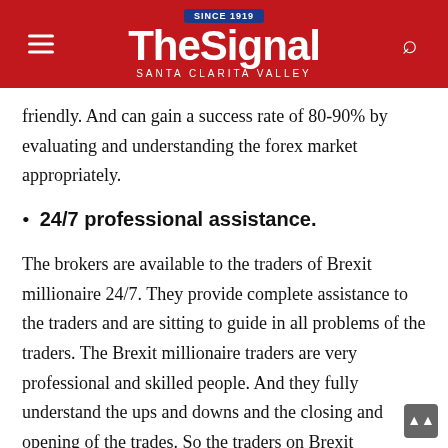The Signal — Santa Clarita Valley
friendly. And can gain a success rate of 80-90% by evaluating and understanding the forex market appropriately.
24/7 professional assistance.
The brokers are available to the traders of Brexit millionaire 24/7. They provide complete assistance to the traders and are sitting to guide in all problems of the traders. The Brexit millionaire traders are very professional and skilled people. And they fully understand the ups and downs and the closing and opening of the trades. So the traders on Brexit